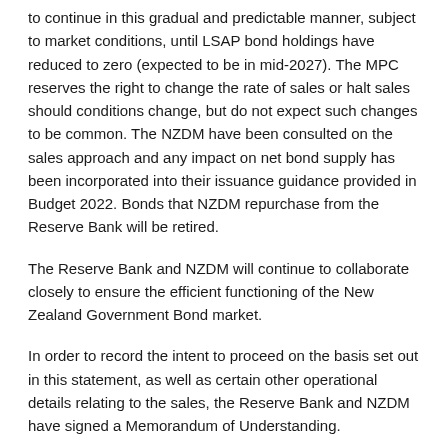to continue in this gradual and predictable manner, subject to market conditions, until LSAP bond holdings have reduced to zero (expected to be in mid-2027). The MPC reserves the right to change the rate of sales or halt sales should conditions change, but do not expect such changes to be common. The NZDM have been consulted on the sales approach and any impact on net bond supply has been incorporated into their issuance guidance provided in Budget 2022. Bonds that NZDM repurchase from the Reserve Bank will be retired.
The Reserve Bank and NZDM will continue to collaborate closely to ensure the efficient functioning of the New Zealand Government Bond market.
In order to record the intent to proceed on the basis set out in this statement, as well as certain other operational details relating to the sales, the Reserve Bank and NZDM have signed a Memorandum of Understanding.
Read the Memorandum of Understanding with NZDM